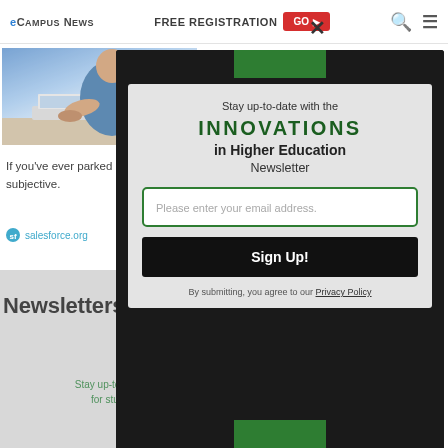eCampus News | FREE REGISTRATION GO ▶
[Figure (photo): Person working on a laptop at a desk, wearing a blue shirt]
If you've ever parked in a city, you know that parking signs can be confusing and subjective.
[Figure (logo): salesforce.org logo badge]
Newsletters
Stay up-to-date for stu...
[Figure (screenshot): Modal popup: Stay up-to-date with the INNOVATIONS in Higher Education Newsletter. Email signup form with 'Please enter your email address.' input and 'Sign Up!' button. By submitting, you agree to our Privacy Policy.]